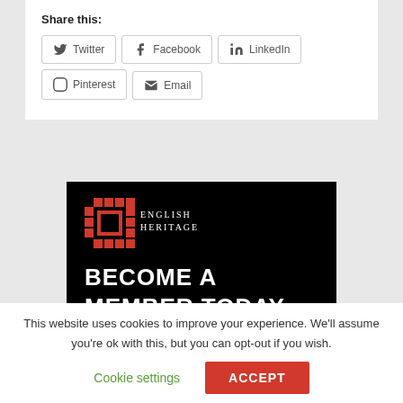Share this:
Twitter | Facebook | LinkedIn | Pinterest | Email
[Figure (illustration): English Heritage 'Become a Member Today' promotional banner with red grid logo on black background]
This website uses cookies to improve your experience. We'll assume you're ok with this, but you can opt-out if you wish.
Cookie settings   ACCEPT